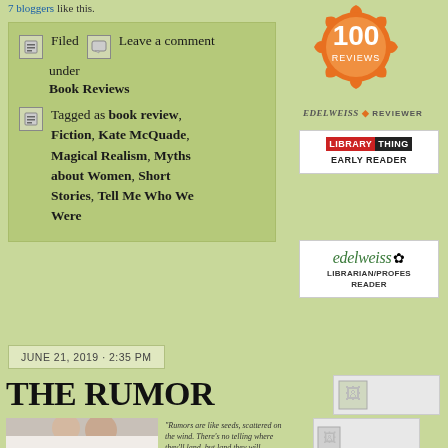7 bloggers like this.
Filed under Book Reviews | Leave a comment
Tagged as book review, Fiction, Kate McQuade, Magical Realism, Myths about Women, Short Stories, Tell Me Who We Were
JUNE 21, 2019 · 2:35 PM
THE RUMOR
[Figure (photo): Two people whispering to each other]
"Rumors are like seeds, scattered on the wind. There's no telling where they'll land, but land they will. Settling in cracks and crevices, the roots take hold..."
[Figure (logo): 100 Reviews badge - orange circular badge]
[Figure (logo): Edelweiss Reviewer logo]
[Figure (logo): LibraryThing Early Reader badge]
[Figure (logo): Edelweiss Librarian/Professional Reader badge]
[Figure (other): Small image placeholder]
[Figure (other): Small image placeholder]